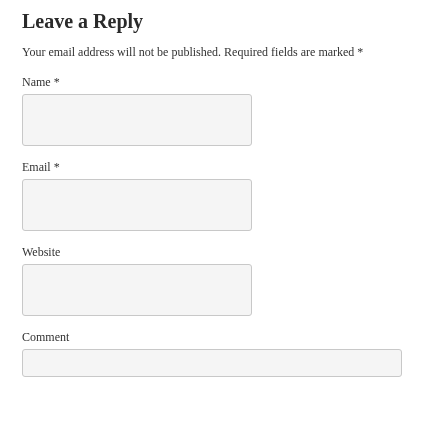Leave a Reply
Your email address will not be published. Required fields are marked *
Name *
[Figure (other): Name input text field]
Email *
[Figure (other): Email input text field]
Website
[Figure (other): Website input text field]
Comment
[Figure (other): Comment input text field]